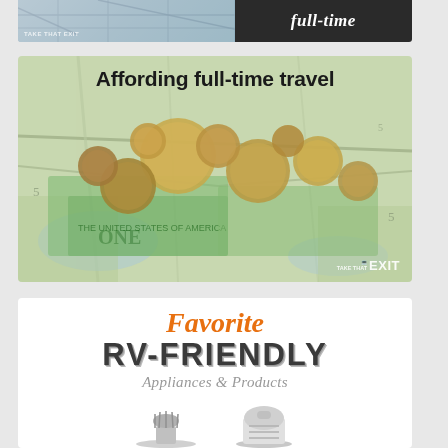[Figure (photo): Partial top of a card showing a split image: left half is a road map with 'Take That Exit' branding, right half is dark background with italic white text reading 'full-time']
[Figure (photo): Photo of coins and US dollar bills scattered on a road map, with bold title 'Affording full-time travel' overlaid at top and 'TAKE THAT EXIT' watermark at bottom right]
[Figure (infographic): White card with orange italic text 'Favorite', large bold dark text 'RV-FRIENDLY', grey italic text 'Appliances & Products', and appliance product images at bottom edge]